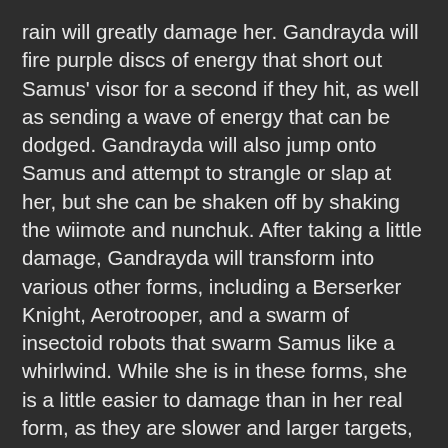rain will greatly damage her. Gandrayda will fire purple discs of energy that short out Samus' visor for a second if they hit, as well as sending a wave of energy that can be dodged. Gandrayda will also jump onto Samus and attempt to strangle or slap at her, but she can be shaken off by shaking the wiimote and nunchuk. After taking a little damage, Gandrayda will transform into various other forms, including a Berserker Knight, Aerotrooper, and a swarm of insectoid robots that swarm Samus like a whirlwind. While she is in these forms, she is a little easier to damage than in her real form, as they are slower and larger targets, except for the swarm of robots, which should be screw-attacked through to deal Gandrayda considerable damage. After a while, she will open part of the roof, leaving less room for Samus to battle in due to the acid rain. She maintains the same sort of attack patterns but will now transform into both Rundas and Ghor as well as the above forms. These can be damaged in the